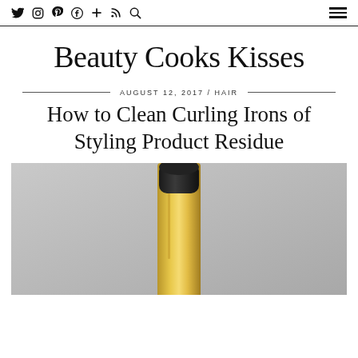Beauty Cooks Kisses — navigation bar with social icons and menu
Beauty Cooks Kisses
AUGUST 12, 2017 / HAIR
How to Clean Curling Irons of Styling Product Residue
[Figure (photo): Close-up photo of a gold curling iron with a black tip on a light gray background]